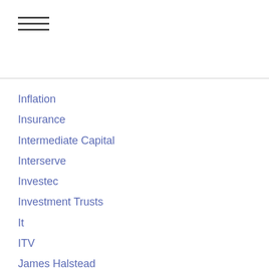Inflation
Insurance
Intermediate Capital
Interserve
Investec
Investment Trusts
It
ITV
James Halstead
Jarvis Investment Management
JLT
Jupiter Fund Management
KCOM
Kingfisher
Legal & General
Lloyds Bank
Luceco